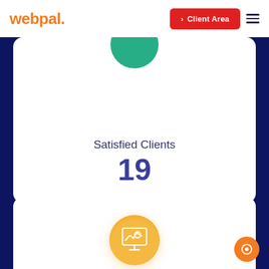webpal. > Client Area
Satisfied Clients
19
[Figure (illustration): Orange circular monitor icon with analytics/chart graphic on amber background circle]
Project Completed
23